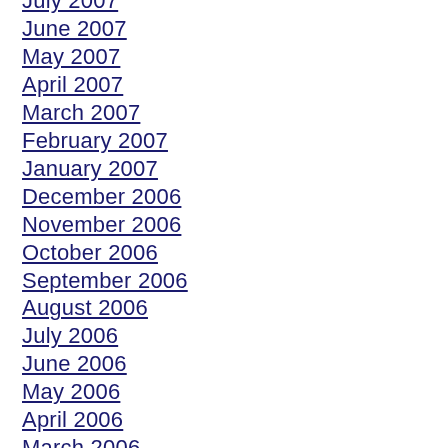July 2007
June 2007
May 2007
April 2007
March 2007
February 2007
January 2007
December 2006
November 2006
October 2006
September 2006
August 2006
July 2006
June 2006
May 2006
April 2006
March 2006
February 2006
January 2006